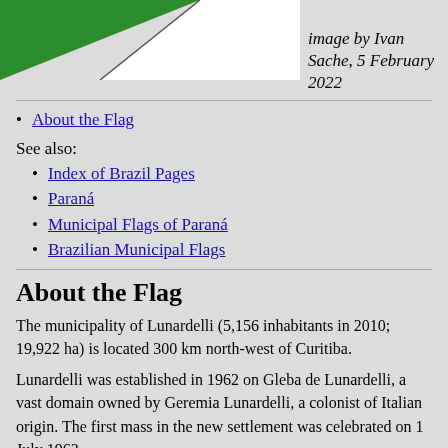[Figure (illustration): Flag of Lunardelli municipality showing green, white, and yellow diagonal sections]
image by Ivan Sache, 5 February 2022
About the Flag
See also:
Index of Brazil Pages
Paraná
Municipal Flags of Paraná
Brazilian Municipal Flags
About the Flag
The municipality of Lunardelli (5,156 inhabitants in 2010; 19,922 ha) is located 300 km north-west of Curitiba.
Lunardelli was established in 1962 on Gleba de Lunardelli, a vast domain owned by Geremia Lunardelli, a colonist of Italian origin. The first mass in the new settlement was celebrated on 1 July 1963.
The district of Guarantã originally established within the...